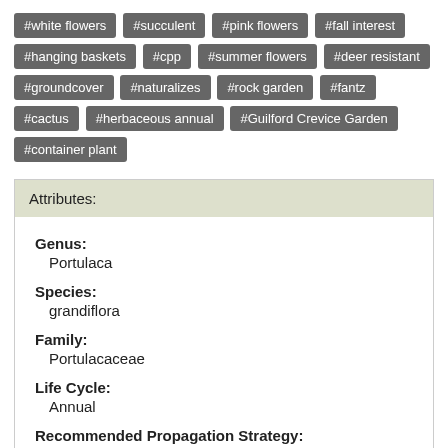#white flowers
#succulent
#pink flowers
#fall interest
#hanging baskets
#cpp
#summer flowers
#deer resistant
#groundcover
#naturalizes
#rock garden
#fantz
#cactus
#herbaceous annual
#Guilford Crevice Garden
#container plant
Attributes:
Genus:
Portulaca
Species:
grandiflora
Family:
Portulacaceae
Life Cycle:
Annual
Recommended Propagation Strategy: